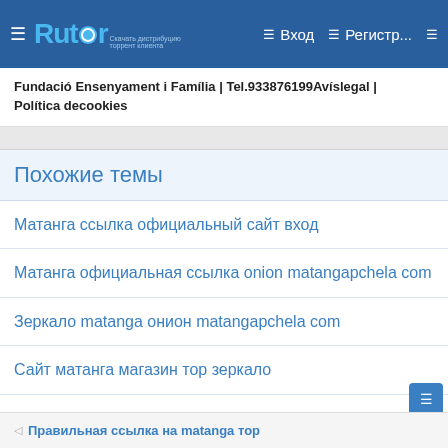☰ Rutor Вход Регистр...
Fundació Ensenyament i Família | Tel.933876199Avíslegal | Política decookies
Похожие темы
Матанга ссылка официальный сайт вход
Матанга официальная ссылка onion matangapchela com
Зеркало matanga онион matangapchela com
Сайт матанга магазин тор зеркало
Зеркала гидры онион список matangapchela com
◁ Правильная ссылка на matanga тор